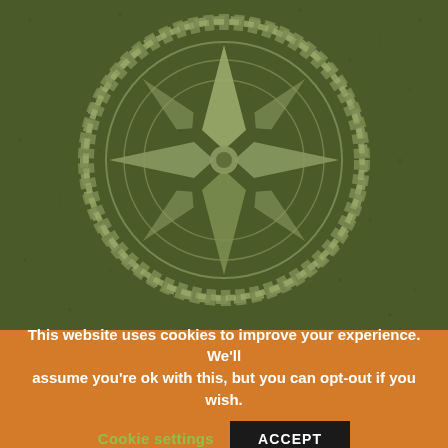[Figure (illustration): Olive/army green textured background with a large compass rose emblem in the center. The emblem features a 4-pointed compass star with directional points (N/S/E/W), surrounded by two concentric circles and an outer rope/chain border ring. The design is rendered in a lighter sage green against the dark olive background.]
This website uses cookies to improve your experience. We'll assume you're ok with this, but you can opt-out if you wish.
Cookie settings
ACCEPT